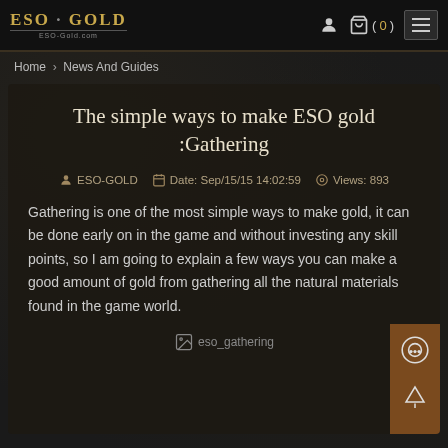ESO-GOLD | ESO-Gold.com | Cart (0)
Home > News And Guides
The simple ways to make ESO gold :Gathering
ESO-GOLD   Date: Sep/15/15 14:02:59   Views: 893
Gathering is one of the most simple ways to make gold, it can be done early on in the game and without investing any skill points, so I am going to explain a few ways you can make a good amount of gold from gathering all the natural materials found in the game world.
[Figure (photo): eso_gathering image placeholder]